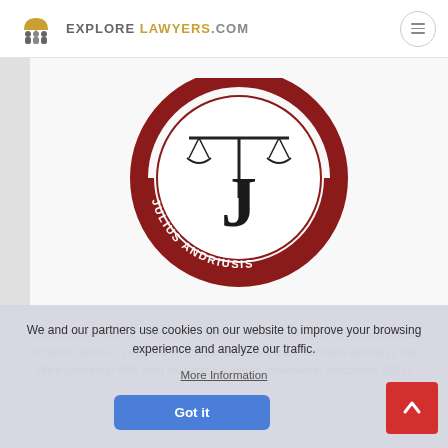EXPLORE LAWYERS.COM
[Figure (logo): Julius Andriusis law firm logo — circular dark red border with scales of justice and ornate J letter, text 'JULIUS ANDRIUSIS' around the bottom arc]
andriusis law firm, llc (focused on automobile accident attorneys, pedestrian accident attorney, personal injury law attorneys, truck accident attorney), law office located at 985 west oklahoma avenue, milwaukee, wisconsin, 53215
We and our partners use cookies on our website to improve your browsing experience and analyze our traffic.
More Information
Got it